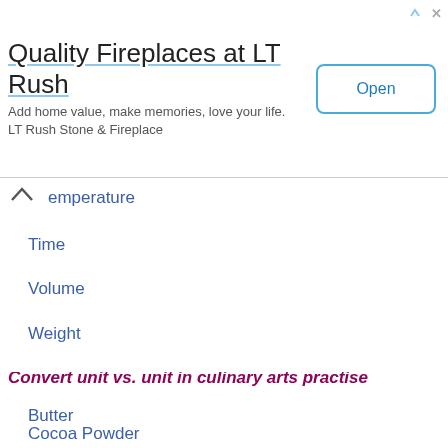[Figure (screenshot): Advertisement banner for LT Rush Stone & Fireplace with title 'Quality Fireplaces at LT Rush', tagline 'Add home value, make memories, love your life. LT Rush Stone & Fireplace', and an 'Open' button.]
Temperature
Time
Volume
Weight
Metals volume vs. weight calculation
Precious Metals
Gold
Convert unit vs. unit in culinary arts practise
Butter
Cocoa Powder